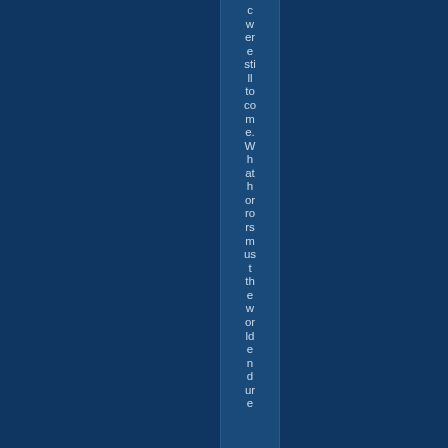c w er e sti ll to co m e. W h at h or ro rs m us t th e w or ld e n d ur e